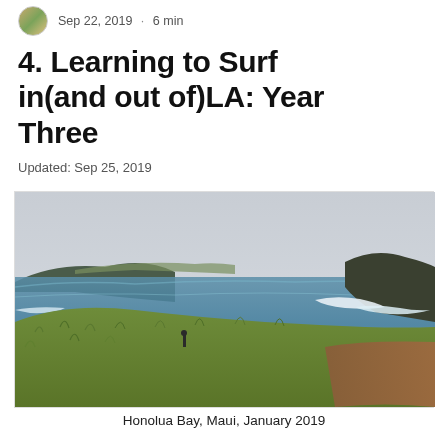Sep 22, 2019 · 6 min
4. Learning to Surf in(and out of)LA: Year Three
Updated: Sep 25, 2019
[Figure (photo): Coastal landscape photo showing a hillside covered in green grass sloping down to Honolua Bay, Maui. The ocean is blue-green with white surf breaking near rocky cliffs. Overcast sky above.]
Honolua Bay, Maui, January 2019